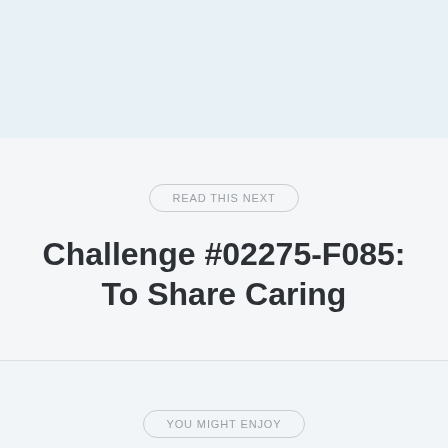[Figure (other): Light blue decorative header panel area]
READ THIS NEXT
Challenge #02275-F085: To Share Caring
YOU MIGHT ENJOY